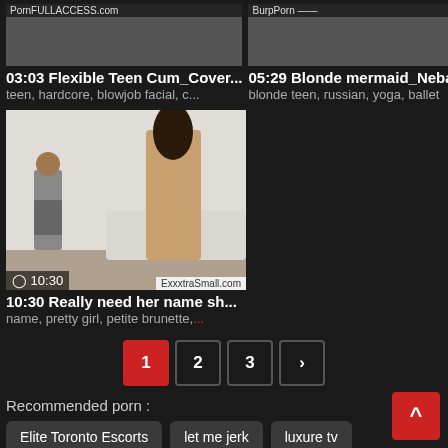[Figure (screenshot): Video thumbnail for '03:03 Flexible Teen Cum_Cover...' with duration overlay]
03:03 Flexible Teen Cum_Cover...
teen, hardcore, blowjob facial, c...
[Figure (screenshot): Video thumbnail for '05:29 Blonde mermaid_Nebask...' with duration overlay]
05:29 Blonde mermaid_Nebask...
blonde teen, russian, yoga, ballet
[Figure (photo): Video thumbnail showing two people in a room, ExxxtraSmall.com watermark, duration 10:30]
10:30 Really need her name sh...
name, pretty girl, petite brunette,...
1  2  3  ›
Recommended porn :
Elite Toronto Escorts
let me jerk
luxure tv
Indian Sex Movies
Latest searches :
Laura Layne Porn
First Anal Tumblr
Malena Morgan Eva Lovia
Zaxxx.com
Lexxi Lockhart Anal